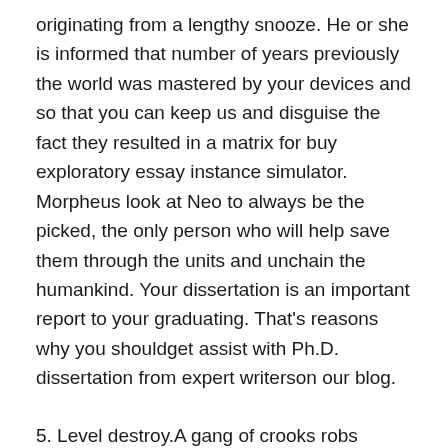originating from a lengthy snooze. He or she is informed that number of years previously the world was mastered by your devices and so that you can keep us and disguise the fact they resulted in a matrix for buy exploratory essay instance simulator. Morpheus look at Neo to always be the picked, the only person who will help save them through the units and unchain the humankind. Your dissertation is an important report to your graduating. That's reasons why you shouldget assist with Ph.D. dissertation from expert writerson our blog.
5. Level destroy.A gang of crooks robs finance institutions one at a time and no-one can capture them. The only method to capture them is always to post a realtor undercover to wriggle on the love of this particular gang and convey them lower from